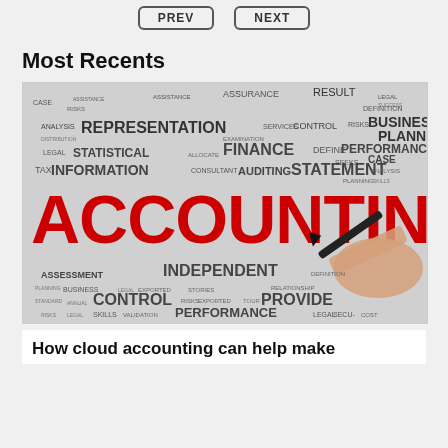PREV   NEXT
Most Recents
[Figure (illustration): Word cloud image centered on the large red word ACCOUNTING with a hand holding a pen, surrounded by accounting-related terms such as REPRESENTATION, STATISTICAL, INFORMATION, FINANCE, AUDITING, STATEMENT, PERFORMANCE, CONTROL, ASSESSMENT, INDEPENDENT, PROVIDE, PLANNING, CONSULTANT, CALCULATE, RESULT, BUSINESS, ASSURANCE, etc.]
How cloud accounting can help make